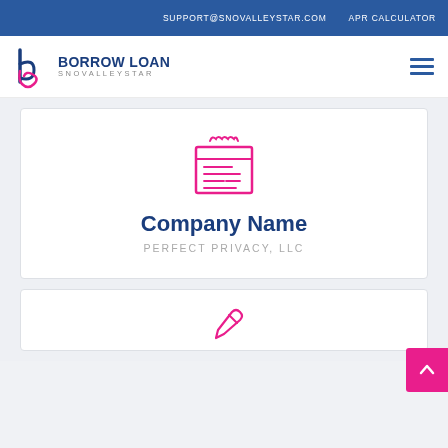SUPPORT@SNOVALLEYSTAR.COM   APR CALCULATOR
[Figure (logo): Borrow Loan Snovalleystar logo with stylized b/p letter mark in dark blue and pink]
[Figure (illustration): Pink outlined calendar/document icon with lines representing text]
Company Name
PERFECT PRIVACY, LLC
[Figure (illustration): Pink outlined icon at bottom of page, partially visible]